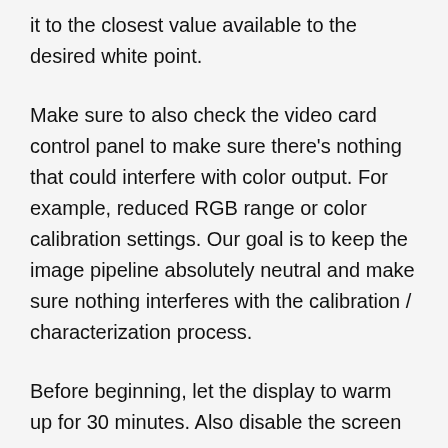it to the closest value available to the desired white point.
Make sure to also check the video card control panel to make sure there's nothing that could interfere with color output. For example, reduced RGB range or color calibration settings. Our goal is to keep the image pipeline absolutely neutral and make sure nothing interferes with the calibration / characterization process.
Before beginning, let the display to warm up for 30 minutes. Also disable the screen saver